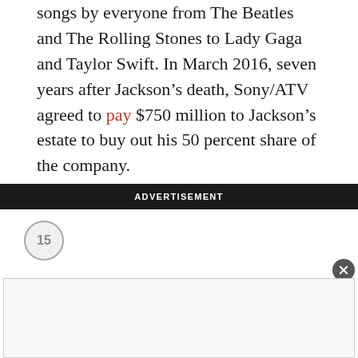songs by everyone from The Beatles and The Rolling Stones to Lady Gaga and Taylor Swift. In March 2016, seven years after Jackson's death, Sony/ATV agreed to pay $750 million to Jackson's estate to buy out his 50 percent share of the company.
ADVERTISEMENT
15